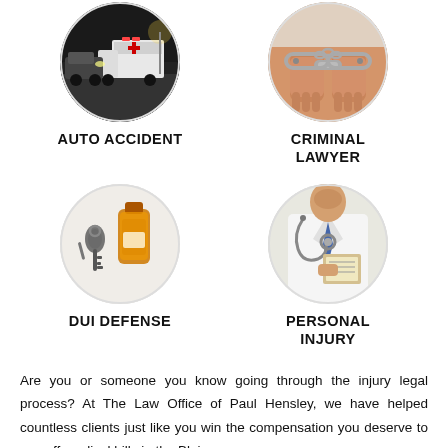[Figure (photo): Circular photo of an auto accident scene with ambulance and crashed vehicles]
[Figure (photo): Circular photo of handcuffed wrists representing criminal law]
AUTO ACCIDENT
CRIMINAL LAWYER
[Figure (photo): Circular photo of car keys and alcohol bottle representing DUI defense]
[Figure (photo): Circular photo of a doctor with stethoscope representing personal injury]
DUI DEFENSE
PERSONAL INJURY
Are you or someone you know going through the injury legal process? At The Law Office of Paul Hensley, we have helped countless clients just like you win the compensation you deserve to pay off medical bills in the Blaine area.